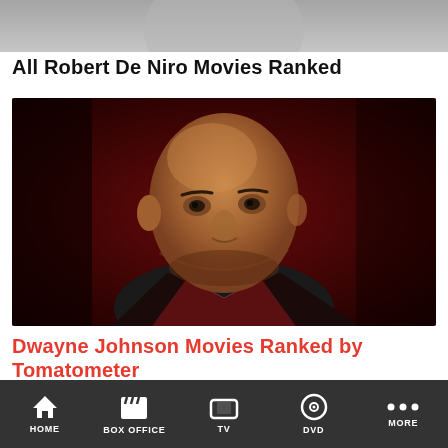[Figure (photo): Partial top image, cropped actor photo showing dark/grey tones]
All Robert De Niro Movies Ranked
[Figure (photo): Portrait photo of Dwayne Johnson in a tuxedo against a dark red background, looking upward to the left]
Dwayne Johnson Movies Ranked by Tomatometer
[Figure (photo): Partial bottom image, cropped scene with blue/green tones]
HOME  BOX OFFICE  TV  DVD  MORE